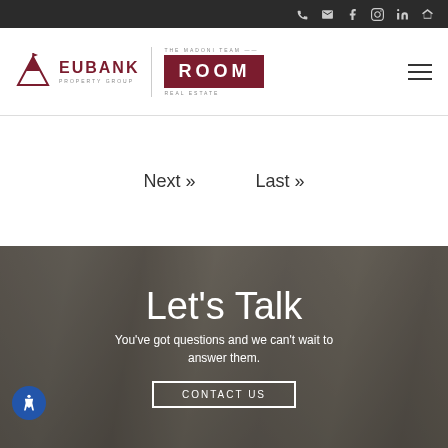Social/contact icons bar (phone, email, Facebook, Instagram, LinkedIn, Zillow)
[Figure (logo): Eubank Property Group and The Madoni Team Room Real Estate combined logo with hamburger menu]
Next »      Last »
[Figure (photo): Interior home photo with dark overlay showing living room, staircase, and open kitchen]
Let's Talk
You've got questions and we can't wait to answer them.
CONTACT US